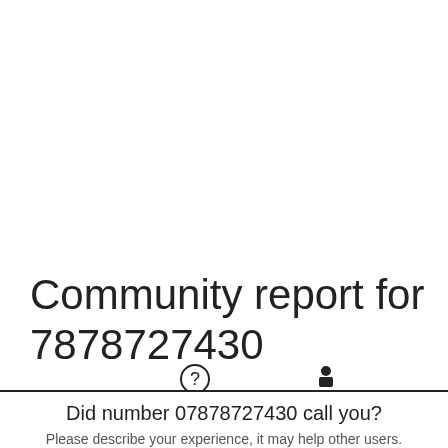Community report for 7878727430
Did number 07878727430 call you?
Please describe your experience, it may help other users.